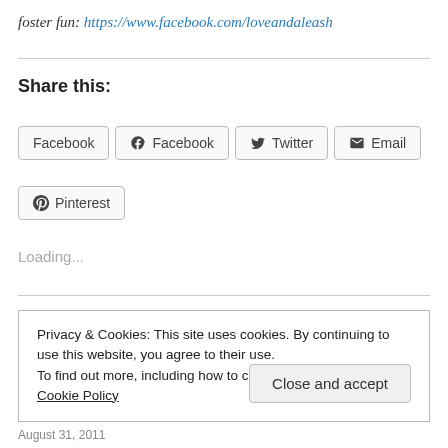foster fun: https://www.facebook.com/loveandaleash
Share this:
[Figure (screenshot): Social sharing buttons: Facebook (x2), Twitter, Email, Pinterest]
Loading...
Privacy & Cookies: This site uses cookies. By continuing to use this website, you agree to their use. To find out more, including how to control cookies, see here: Cookie Policy
August 31, 2011